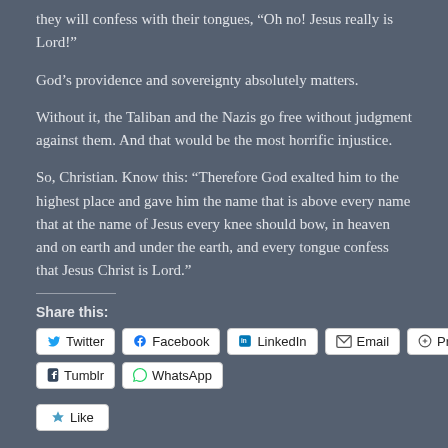they will confess with their tongues, “Oh no! Jesus really is Lord!”
God’s providence and sovereignty absolutely matters.
Without it, the Taliban and the Nazis go free without judgment against them. And that would be the most horrific injustice.
So, Christian. Know this: “Therefore God exalted him to the highest place and gave him the name that is above every name that at the name of Jesus every knee should bow, in heaven and on earth and under the earth, and every tongue confess that Jesus Christ is Lord.”
Share this:
Twitter | Facebook | LinkedIn | Email | Print | Tumblr | WhatsApp
Like